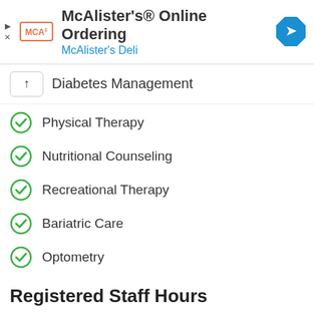[Figure (logo): McAlister's Online Ordering ad banner with MCA logo and navigation arrow icon, McAlister's Deli subtitle in blue]
Diabetes Management
Physical Therapy
Nutritional Counseling
Recreational Therapy
Bariatric Care
Optometry
Registered Staff Hours
Medical Staff Hours Per Patient (2021)
Less: [light box] More: [dark box]